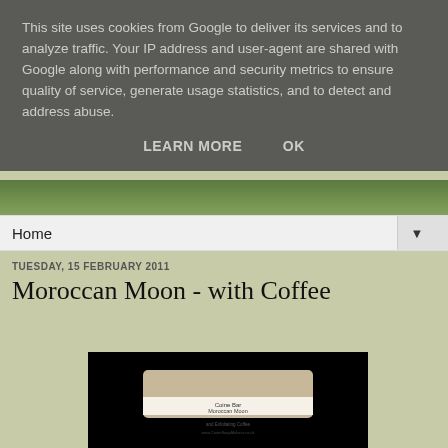This site uses cookies from Google to deliver its services and to analyze traffic. Your IP address and user-agent are shared with Google along with performance and security metrics to ensure quality of service, generate usage statistics, and to detect and address abuse.
LEARN MORE   OK
Home ▼
TUESDAY, 15 FEBRUARY 2011
Moroccan Moon - with Coffee
[Figure (photo): Product photo of a soap bar labeled 'Coine Bar Moroccan Moon' against a black background, with text 'www.CoineSoapMakers.co.uk']